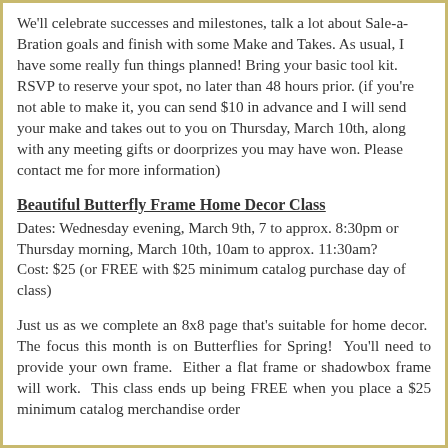We'll celebrate successes and milestones, talk a lot about Sale-a-Bration goals and finish with some Make and Takes. As usual, I have some really fun things planned! Bring your basic tool kit. RSVP to reserve your spot, no later than 48 hours prior. (if you're not able to make it, you can send $10 in advance and I will send your make and takes out to you on Thursday, March 10th, along with any meeting gifts or doorprizes you may have won. Please contact me for more information)
Beautiful Butterfly Frame Home Decor Class
Dates: Wednesday evening, March 9th, 7 to approx. 8:30pm or Thursday morning, March 10th, 10am to approx. 11:30am?
Cost: $25 (or FREE with $25 minimum catalog purchase day of class)
Just us as we complete an 8x8 page that's suitable for home decor. The focus this month is on Butterflies for Spring! You'll need to provide your own frame. Either a flat frame or shadowbox frame will work. This class ends up being FREE when you place a $25 minimum catalog merchandise order